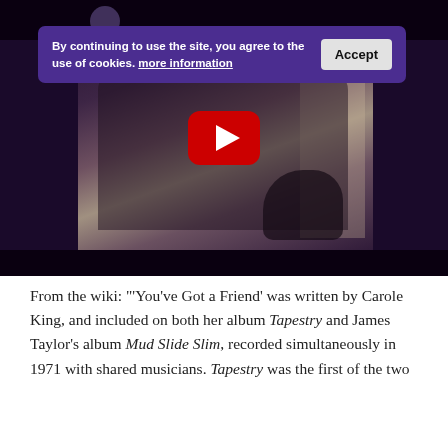[Figure (screenshot): A screenshot of a website showing a YouTube video thumbnail. The video shows a woman sitting on a couch near a window with a cat. A purple cookie consent banner overlays the top portion.]
By continuing to use the site, you agree to the use of cookies. more information
From the wiki: "'You've Got a Friend' was written by Carole King, and included on both her album Tapestry and James Taylor's album Mud Slide Slim, recorded simultaneously in 1971 with shared musicians. Tapestry was the first of the two